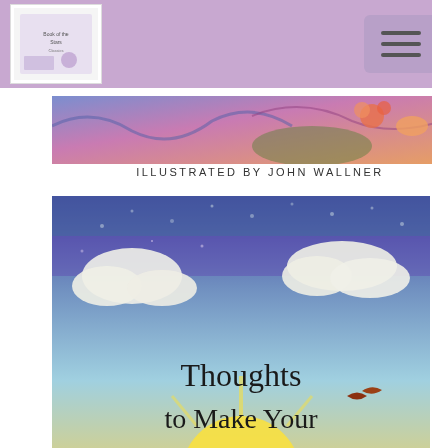[Figure (screenshot): Website header bar with purple/lavender background. Left side shows a small book cover thumbnail (white background). Right side shows a hamburger menu button (three horizontal lines).]
[Figure (illustration): Book cover partial: decorative floral illustration with caption 'ILLUSTRATED BY JOHN WALLNER' below]
ILLUSTRATED BY JOHN WALLNER
[Figure (illustration): Book cover for 'Thoughts to Make Your Heart Sing' by Sally Lloyd-Jones & Jago. Features colorful illustrated landscape with sky, mountains, animals, and whale. Text reads: Thoughts to Make Your Heart Sing, SALLY LLOYD-JONES & JAGO, FOREWORD BY TIM KELLER]
[Figure (illustration): Partial book cover with teal/blue color. Text reads 'NO MATTER WHERE, GOD IS ALWAYS THERE...' with decorative script below.]